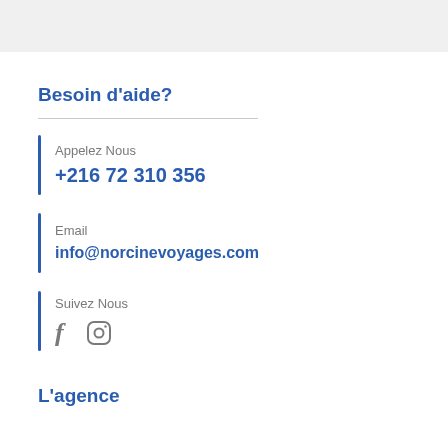Besoin d'aide?
Appelez Nous
+216 72 310 356
Email
info@norcinevoyages.com
Suivez Nous
L'agence